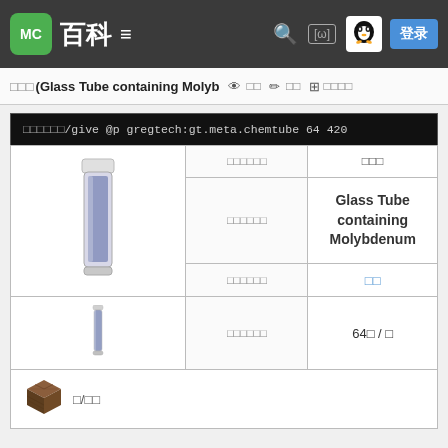MC 百科 ≡  [ω]  登录
□□□ (Glass Tube containing Molyb  👁 □□  ✏ □□  □ □□□□
□□□□□□/give @p gregtech:gt.meta.chemtube 64 420
| (image) | □□□□□□ | □□□ |
| --- | --- | --- |
| (Glass tube image) | □□□□□□ | Glass Tube containing Molybdenum |
| (small tube) | □□□□□□ | □□ |
|  | □□□□□□ | 64□ / □ |
[Figure (illustration): Crafting table icon with label □/□□]